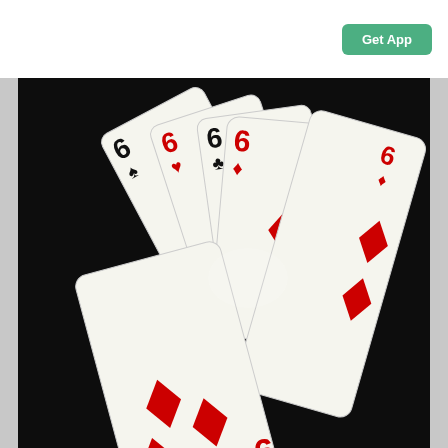Get App
[Figure (photo): A fan of five playing cards spread on a black background. From left to right: 6 of Spades (black), 6 of Hearts (red), 6 of Clubs (black), 6 of Diamonds (red), and a partially visible 9 of Diamonds (red) in the foreground at bottom. The cards are fanned out showing their faces.]